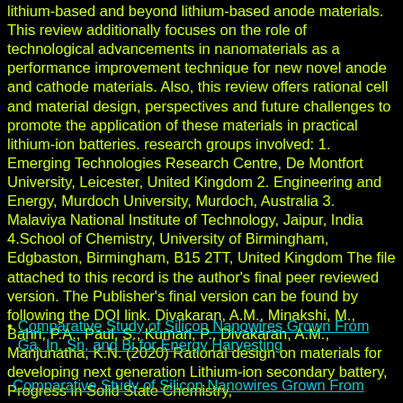lithium-based and beyond lithium-based anode materials. This review additionally focuses on the role of technological advancements in nanomaterials as a performance improvement technique for new novel anode and cathode materials. Also, this review offers rational cell and material design, perspectives and future challenges to promote the application of these materials in practical lithium-ion batteries. research groups involved: 1. Emerging Technologies Research Centre, De Montfort University, Leicester, United Kingdom 2. Engineering and Energy, Murdoch University, Murdoch, Australia 3. Malaviya National Institute of Technology, Jaipur, India 4.School of Chemistry, University of Birmingham, Edgbaston, Birmingham, B15 2TT, United Kingdom The file attached to this record is the author's final peer reviewed version. The Publisher's final version can be found by following the DOI link. Divakaran, A.M., Minakshi, M., Bahri, P.A., Paul, S., Kumari, P., Divakaran, A.M., Manjunatha, K.N. (2020) Rational design on materials for developing next generation Lithium-ion secondary battery, Progress in Solid State Chemistry,
Comparative Study of Silicon Nanowires Grown From Ga, In, Sn, and Bi for Energy Harvesting
Comparative Study of Silicon Nanowires Grown From